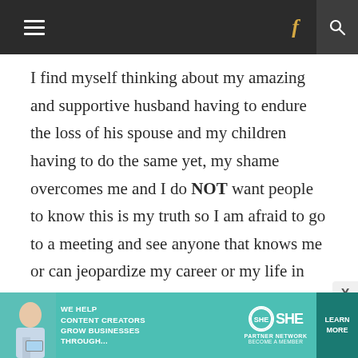Navigation header with hamburger menu, Facebook icon, and search icon
I find myself thinking about my amazing and supportive husband having to endure the loss of his spouse and my children having to do the same yet, my shame overcomes me and I do NOT want people to know this is my truth so I am afraid to go to a meeting and see anyone that knows me or can jeopardize my career or my life in general. It is the most difficult thing I have ever done...being an alcoholic. My story is ongoing.
If you are reading this and are feeling
[Figure (other): Advertisement banner for SHE Media Partner Network with text 'We Help Content Creators Grow Businesses Through...' and a Learn More button]